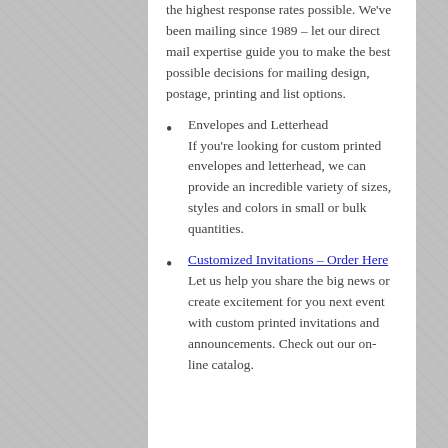the highest response rates possible. We've been mailing since 1989 – let our direct mail expertise guide you to make the best possible decisions for mailing design, postage, printing and list options.
Envelopes and Letterhead If you're looking for custom printed envelopes and letterhead, we can provide an incredible variety of sizes, styles and colors in small or bulk quantities.
Customized Invitations – Order Here Let us help you share the big news or create excitement for you next event with custom printed invitations and announcements. Check out our on-line catalog.